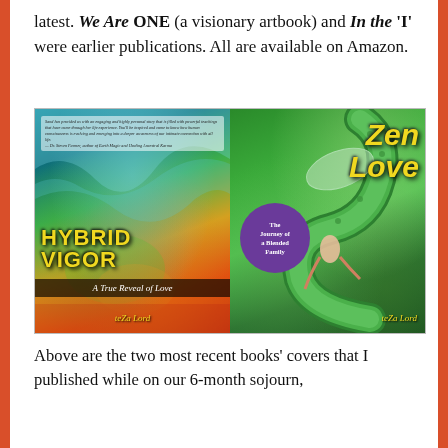latest. We Are ONE (a visionary artbook) and In the 'I' were earlier publications. All are available on Amazon.
[Figure (photo): Two book covers side by side: left is 'Hybrid Vigor – A True Reveal of Love' by Leza Lord, featuring a colorful bird/phoenix surrounded by waves and fire. Right is 'Zen Love – The Journey of a Blended Family' by Leza Lord, featuring a green serpent/dragon and a figure.]
Above are the two most recent books' covers that I published while on our 6-month sojourn,